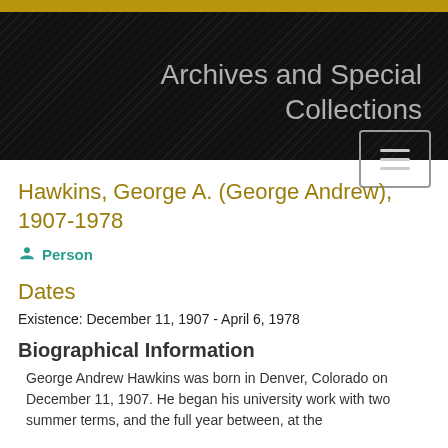Archives and Special Collections
Hawkins, George A. (George Andrew), 1907-1978
Person
Dates
Existence: December 11, 1907 - April 6, 1978
Biographical Information
George Andrew Hawkins was born in Denver, Colorado on December 11, 1907. He began his university work with two summer terms, and the full year between, at the